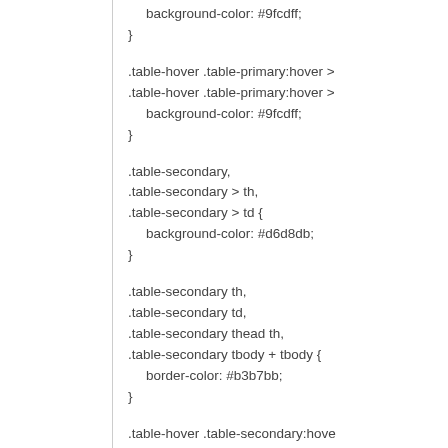background-color: #9fcdff;
}
.table-hover .table-primary:hover >
.table-hover .table-primary:hover >
  background-color: #9fcdff;
}
.table-secondary,
.table-secondary > th,
.table-secondary > td {
  background-color: #d6d8db;
}
.table-secondary th,
.table-secondary td,
.table-secondary thead th,
.table-secondary tbody + tbody {
  border-color: #b3b7bb;
}
.table-hover .table-secondary:hove